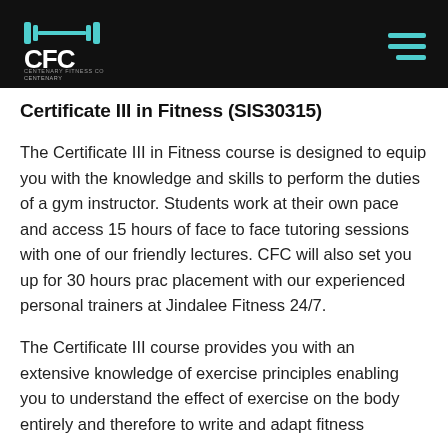[Figure (logo): CFC Centenary Fitness College logo with barbell icon in teal on black background, with hamburger menu icon in teal on the right]
Certificate III in Fitness (SIS30315)
The Certificate III in Fitness course is designed to equip you with the knowledge and skills to perform the duties of a gym instructor. Students work at their own pace and access 15 hours of face to face tutoring sessions with one of our friendly lectures. CFC will also set you up for 30 hours prac placement with our experienced personal trainers at Jindalee Fitness 24/7.
The Certificate III course provides you with an extensive knowledge of exercise principles enabling you to understand the effect of exercise on the body entirely and therefore to write and adapt fitness